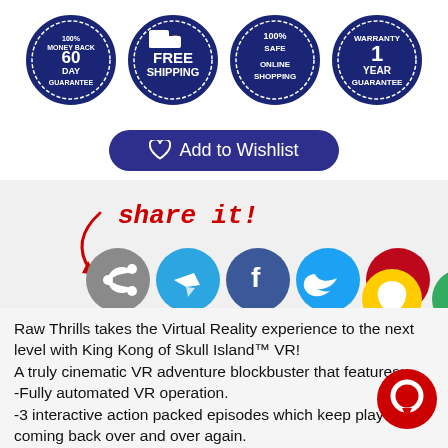[Figure (illustration): Four blue circular badge icons: 60 Day 100% Back Guarantee, Free Shipping, 100% Safe Online Shopping, 1 Year Warranty Guarantee]
[Figure (illustration): Dark blue pill-shaped Add to Wishlist button with heart icon]
[Figure (illustration): Share it! label in red handwritten style with red arrow, followed by social media icons: Share, Telegram, Facebook, Twitter, Pinterest, Snapchat, unknown green icon]
Raw Thrills takes the Virtual Reality experience to the next level with King Kong of Skull Island™ VR!
A truly cinematic VR adventure blockbuster that features:
-Fully automated VR operation.
-3 interactive action packed episodes which keep players coming back over and over again.